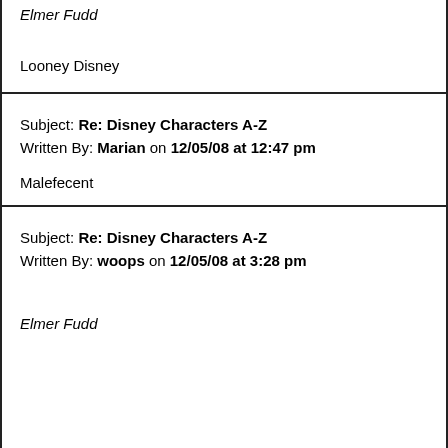Elmer Fudd
Looney Disney
Subject: Re: Disney Characters A-Z
Written By: Marian on 12/05/08 at 12:47 pm
Malefecent
Subject: Re: Disney Characters A-Z
Written By: woops on 12/05/08 at 3:28 pm
Elmer Fudd